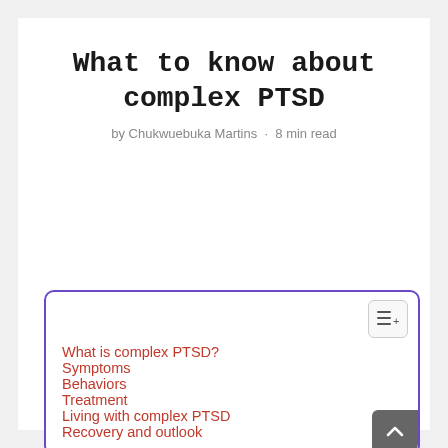What to know about complex PTSD
by Chukwuebuka Martins · 8 min read
What is complex PTSD?
Symptoms
Behaviors
Treatment
Living with complex PTSD
Recovery and outlook